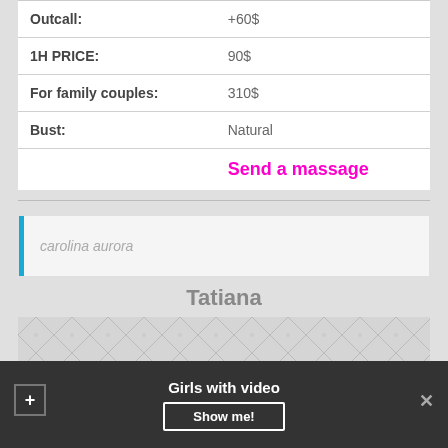| Field | Value |
| --- | --- |
| Outcall: | +60$ |
| 1H PRICE: | 90$ |
| For family couples: | 310$ |
| Bust: | Natural |
Send a massage
carolina aurora
Tatiana
[Figure (photo): Quilted white leather texture photo placeholder]
Girls with video
Show me!